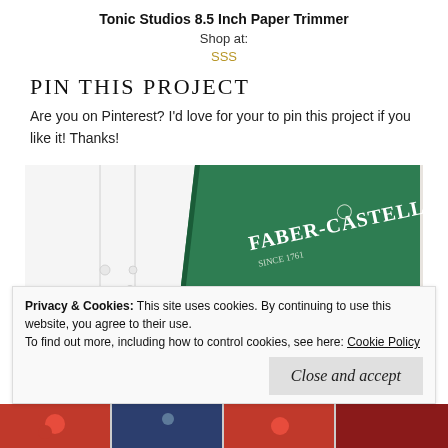Tonic Studios 8.5 Inch Paper Trimmer
Shop at:
SSS
PIN THIS PROJECT
Are you on Pinterest? I'd love for your to pin this project if you like it! Thanks!
[Figure (photo): Photo showing a white card or paper to the left with small pearl embellishments, and a green Faber-Castell product box to the right, on a white surface.]
Privacy & Cookies: This site uses cookies. By continuing to use this website, you agree to their use.
To find out more, including how to control cookies, see here: Cookie Policy
Close and accept